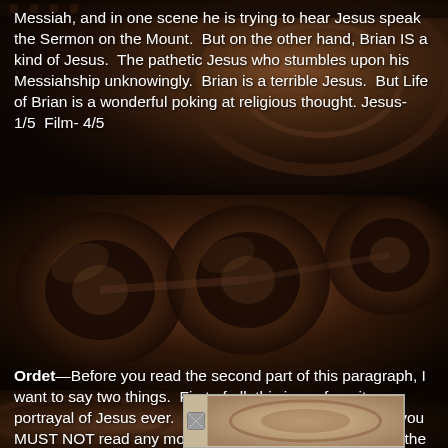Messiah, and in one scene he is trying to hear Jesus speak the Sermon on the Mount.  But on the other hand, Brian IS a kind of Jesus.  The pathetic Jesus who stumbles upon his Messiahship unknowingly.  Brian is a terrible Jesus.  But Life of Brian is a wonderful poking at religious thought. Jesus- 1/5  Film- 4/5
[Figure (photo): Dark sepia-toned photograph of a film reel, showing the circular metal film canister/reel with reels visible, dark background]
Ordet—Before you read the second part of this paragraph, I want to say two things.  First of all, this is my favorite portrayal of Jesus ever.  Secondly, if you haven't seen it you MUST NOT read any more.  Major spoilers, here.  Order the film from Netflix, watch it, and then finish this paragraph...
[Figure (photo): Dark sepia-toned close-up photograph of film reels showing circular canister hubs, dark warm brown tones]
[Figure (photo): Small partially visible image at bottom of page showing a film reel, light tan/beige background]